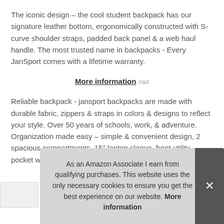The iconic design – the cool student backpack has our signature leather bottom, ergonomically constructed with S-curve shoulder straps, padded back panel & a web haul handle. The most trusted name in backpacks - Every JanSport comes with a lifetime warranty.
More information #ad
Reliable backpack - jansport backpacks are made with durable fabric, zippers & straps in colors & designs to reflect your style. Over 50 years of schools, work, & adventure. Organization made easy – simple & convenient design, 2 spacious compartments, 15" laptop sleeve, front utility pocket with
As an Amazon Associate I earn from qualifying purchases. This website uses the only necessary cookies to ensure you get the best experience on our website. More information